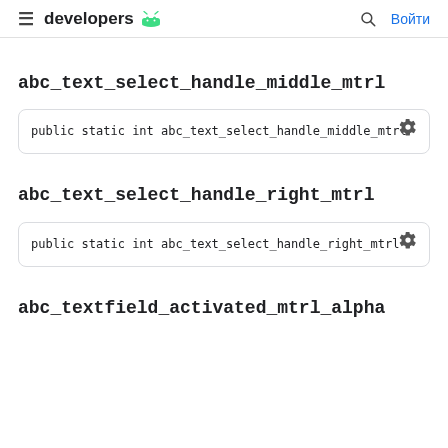≡ developers [android] 🔍 Войти
abc_text_select_handle_middle_mtrl
public static int abc_text_select_handle_middle_mtrl
abc_text_select_handle_right_mtrl
public static int abc_text_select_handle_right_mtrl
abc_textfield_activated_mtrl_alpha